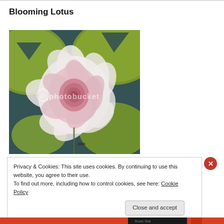Blooming Lotus
[Figure (photo): A pink lotus flower blooming on a pond surrounded by green lily pads, with a Photobucket watermark overlay.]
Privacy & Cookies: This site uses cookies. By continuing to use this website, you agree to their use.
To find out more, including how to control cookies, see here: Cookie Policy
Close and accept